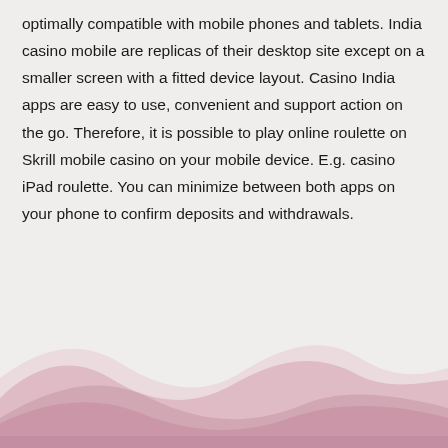optimally compatible with mobile phones and tablets. India casino mobile are replicas of their desktop site except on a smaller screen with a fitted device layout. Casino India apps are easy to use, convenient and support action on the go. Therefore, it is possible to play online roulette on Skrill mobile casino on your mobile device. E.g. casino iPad roulette. You can minimize between both apps on your phone to confirm deposits and withdrawals.
[Figure (illustration): Decorative pink/mauve wave shapes at the bottom of the page, layered wave curves in light pink and a darker muted pink, against a light grey background.]